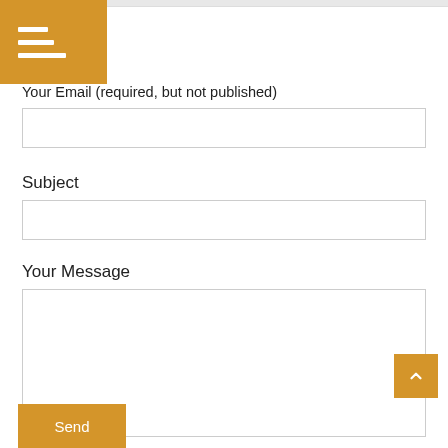[Figure (other): Orange hamburger menu button in top-left corner with three horizontal white lines of increasing width]
Your Email (required, but not published)
[Figure (other): Email input text field (empty)]
Subject
[Figure (other): Subject input text field (empty)]
Your Message
[Figure (other): Message textarea (empty, large)]
[Figure (other): Orange scroll-to-top button with upward chevron arrow]
[Figure (other): Orange Send button]